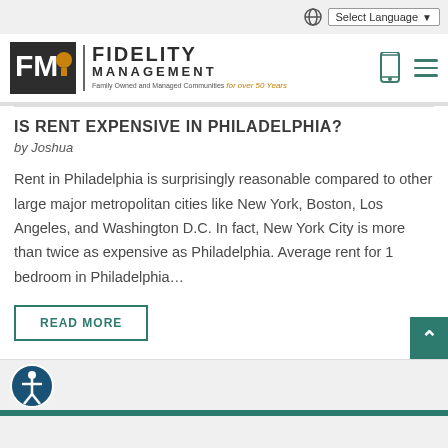Select Language
[Figure (logo): FM Fidelity Management logo with tagline 'Family Owned and Managed Communities for over 50 Years']
IS RENT EXPENSIVE IN PHILADELPHIA?
by Joshua
Rent in Philadelphia is surprisingly reasonable compared to other large major metropolitan cities like New York, Boston, Los Angeles, and Washington D.C. In fact, New York City is more than twice as expensive as Philadelphia. Average rent for 1 bedroom in Philadelphia…
READ MORE